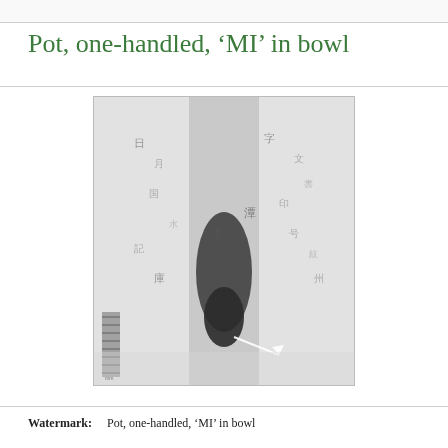Pot, one-handled, ‘MI’ in bowl
[Figure (photo): Black and white photograph of a watermark on paper/fabric showing Asian (likely Chinese or Japanese) characters and inscriptions, with a ruler visible at the bottom left for scale.]
Watermark:    Pot, one-handled, ‘MI’ in bowl